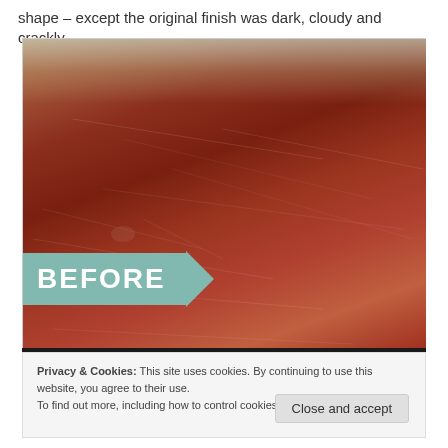shape – except the original finish was dark, cloudy and crackly.
[Figure (photo): A close-up photo of a scratched and worn dark reddish-brown wooden table surface with a 'BEFORE' banner label overlaid in the bottom-left corner on a teal/mint colored ribbon with an arrow shape pointing left.]
Privacy & Cookies: This site uses cookies. By continuing to use this website, you agree to their use.
To find out more, including how to control cookies, see here: Cookie Policy.
Close and accept